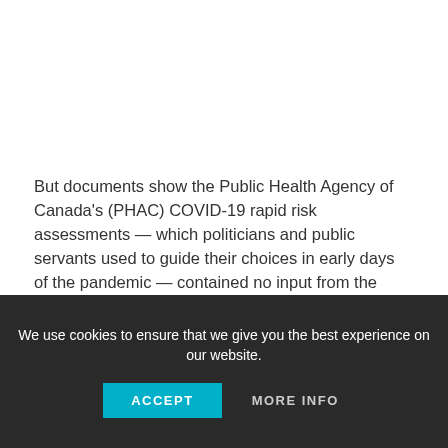But documents show the Public Health Agency of Canada's (PHAC) COVID-19 rapid risk assessments — which politicians and public servants used to guide their choices in early days of the pandemic — contained no input from the military's warnings, which remain classified.
We use cookies to ensure that we give you the best experience on our website.
ACCEPT
MORE INFO